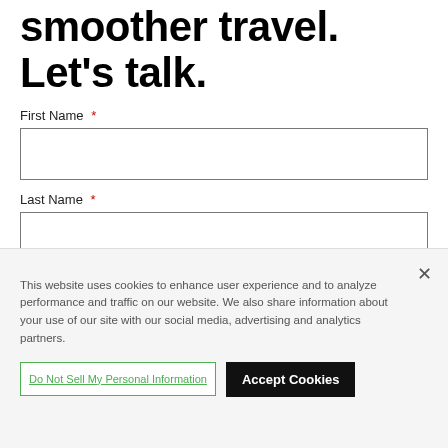smoother travel. Let's talk.
First Name *
Last Name *
This website uses cookies to enhance user experience and to analyze performance and traffic on our website. We also share information about your use of our site with our social media, advertising and analytics partners.
Do Not Sell My Personal Information
Accept Cookies